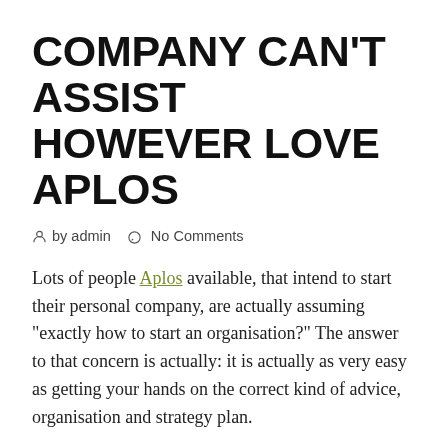COMPANY CAN'T ASSIST HOWEVER LOVE APLOS
by admin   No Comments
Lots of people Aplos available, that intend to start their personal company, are actually assuming "exactly how to start an organisation?" The answer to that concern is actually: it is actually as very easy as getting your hands on the correct kind of advice, organisation and strategy plan.
In order to start a company, you need to find a company program that possesses a great structure